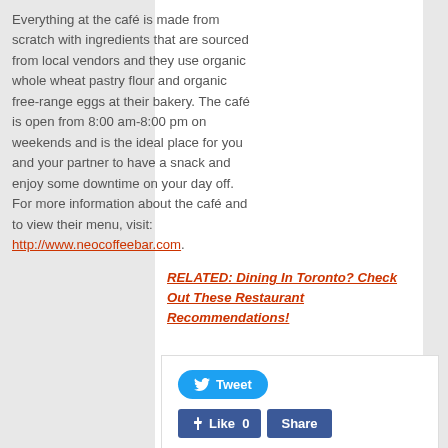Everything at the café is made from scratch with ingredients that are sourced from local vendors and they use organic whole wheat pastry flour and organic free-range eggs at their bakery. The café is open from 8:00 am-8:00 pm on weekends and is the ideal place for you and your partner to have a snack and enjoy some downtime on your day off. For more information about the café and to view their menu, visit: http://www.neocoffeebar.com.
RELATED: Dining In Toronto? Check Out These Restaurant Recommendations!
[Figure (other): Social sharing buttons: Tweet (Twitter), Like 0 and Share (Facebook), Save (Pinterest)]